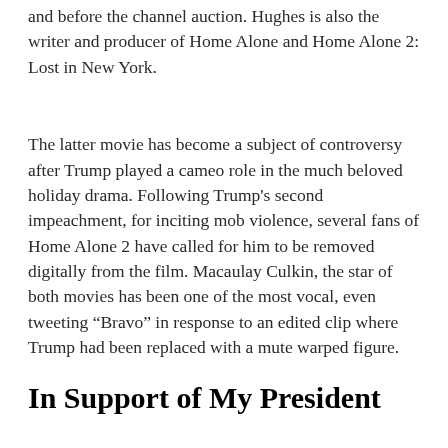and before the channel auction. Hughes is also the writer and producer of Home Alone and Home Alone 2: Lost in New York.
The latter movie has become a subject of controversy after Trump played a cameo role in the much beloved holiday drama. Following Trump's second impeachment, for inciting mob violence, several fans of Home Alone 2 have called for him to be removed digitally from the film. Macaulay Culkin, the star of both movies has been one of the most vocal, even tweeting “Bravo” in response to an edited clip where Trump had been replaced with a mute warped figure.
In Support of My President